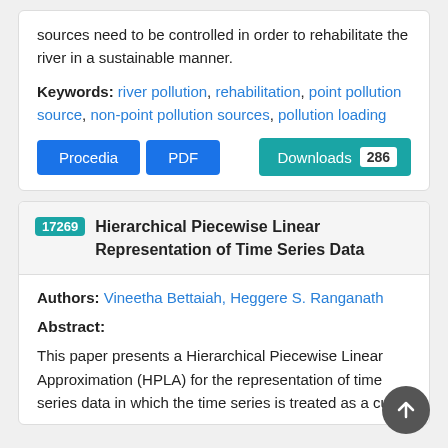sources need to be controlled in order to rehabilitate the river in a sustainable manner.
Keywords: river pollution, rehabilitation, point pollution source, non-point pollution sources, pollution loading
Procedia  PDF  Downloads 286
17269 Hierarchical Piecewise Linear Representation of Time Series Data
Authors: Vineetha Bettaiah, Heggere S. Ranganath
Abstract:
This paper presents a Hierarchical Piecewise Linear Approximation (HPLA) for the representation of time series data in which the time series is treated as a curve